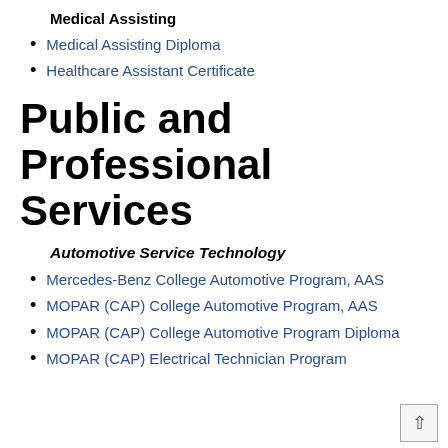Medical Assisting
Medical Assisting Diploma
Healthcare Assistant Certificate
Public and Professional Services
Automotive Service Technology
Mercedes-Benz College Automotive Program, AAS
MOPAR (CAP) College Automotive Program, AAS
MOPAR (CAP) College Automotive Program Diploma
MOPAR (CAP) Electrical Technician Program